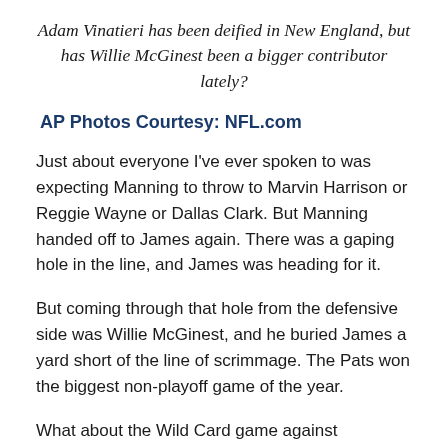Adam Vinatieri has been deified in New England, but has Willie McGinest been a bigger contributor lately?
AP Photos Courtesy: NFL.com
Just about everyone I've ever spoken to was expecting Manning to throw to Marvin Harrison or Reggie Wayne or Dallas Clark. But Manning handed off to James again. There was a gaping hole in the line, and James was heading for it.
But coming through that hole from the defensive side was Willie McGinest, and he buried James a yard short of the line of scrimmage. The Pats won the biggest non-playoff game of the year.
What about the Wild Card game against Jacksonville this past January? The Patriots moved the ball at will